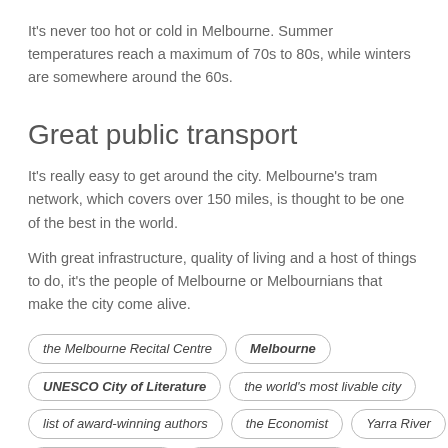It's never too hot or cold in Melbourne. Summer temperatures reach a maximum of 70s to 80s, while winters are somewhere around the 60s.
Great public transport
It's really easy to get around the city. Melbourne's tram network, which covers over 150 miles, is thought to be one of the best in the world.
With great infrastructure, quality of living and a host of things to do, it's the people of Melbourne or Melbournians that make the city come alive.
the Melbourne Recital Centre
Melbourne
UNESCO City of Literature
the world's most livable city
list of award-winning authors
the Economist
Yarra River
The Australian Ballet
the Digital Harbour Port